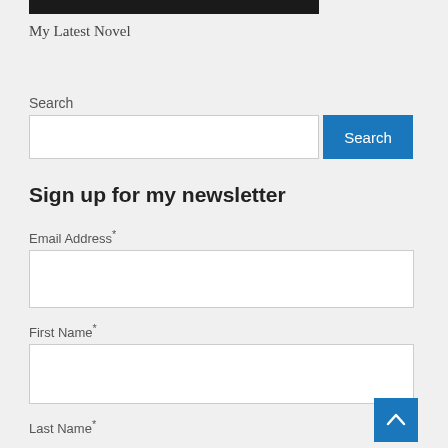[Figure (photo): Dark image bar at the top of the page, cropped]
My Latest Novel
Search
Search input field with Search button
Sign up for my newsletter
Email Address*
First Name*
Last Name*